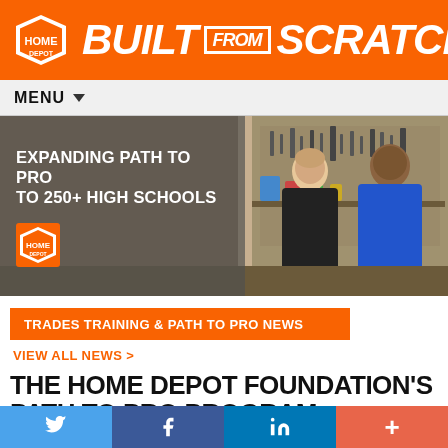BUILT FROM SCRATCH
MENU
[Figure (photo): Two young men in a workshop/classroom setting working with tools. One wears a black hoodie, the other a blue hoodie. Shelves with tools and equipment in background. Text overlay: EXPANDING PATH TO PRO TO 250+ HIGH SCHOOLS with Home Depot Foundation logo.]
TRADES TRAINING & PATH TO PRO NEWS
VIEW ALL NEWS >
THE HOME DEPOT FOUNDATION'S PATH TO PRO PROGRAM EXPANDS
Twitter | Facebook | LinkedIn | +